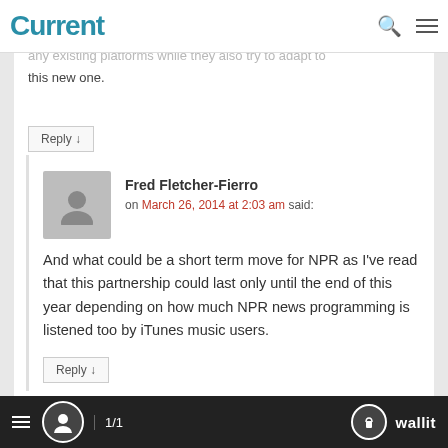Current
specific question. But my guess is that stations would not want to take any steps to jeopardize audience on any existing platforms while they also try to adapt to this new one.
Reply ↓
Fred Fletcher-Fierro on March 26, 2014 at 2:03 am said:
And what could be a short term move for NPR as I've read that this partnership could last only until the end of this year depending on how much NPR news programming is listened too by iTunes music users.
Reply ↓
≡  👤  1/1                                    🔓 wallit